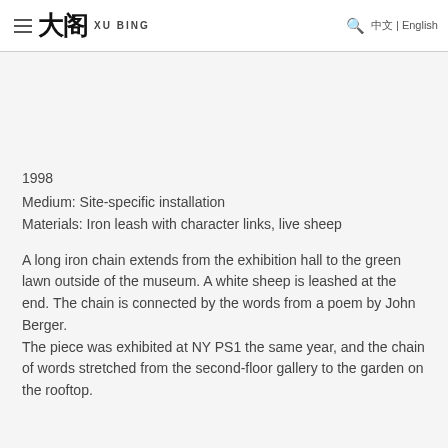XU BING | 中文 | English
1998
Medium: Site-specific installation
Materials: Iron leash with character links, live sheep
A long iron chain extends from the exhibition hall to the green lawn outside of the museum. A white sheep is leashed at the end. The chain is connected by the words from a poem by John Berger.
The piece was exhibited at NY PS1 the same year, and the chain of words stretched from the second-floor gallery to the garden on the rooftop.